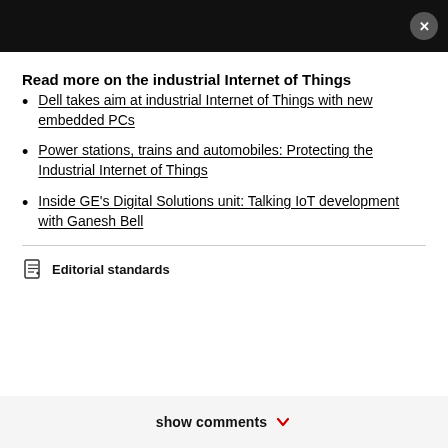Read more on the industrial Internet of Things
Dell takes aim at industrial Internet of Things with new embedded PCs
Power stations, trains and automobiles: Protecting the Industrial Internet of Things
Inside GE's Digital Solutions unit: Talking IoT development with Ganesh Bell
Editorial standards
show comments